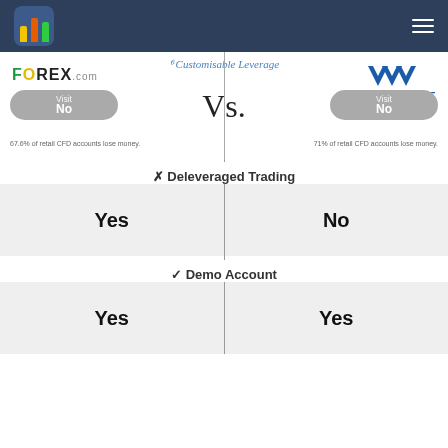[Figure (logo): FOREX.com logo on left, AvaTrade logo on right, Vs. in center with 'Customisable Leverage' text]
67.6% of retail CFD accounts lose money.
71% of retail CFD accounts lose money.
✗ Deleveraged Trading
| FOREX.com | AvaTrade |
| --- | --- |
| Yes | No |
✓ Demo Account
| FOREX.com | AvaTrade |
| --- | --- |
| Yes | Yes |